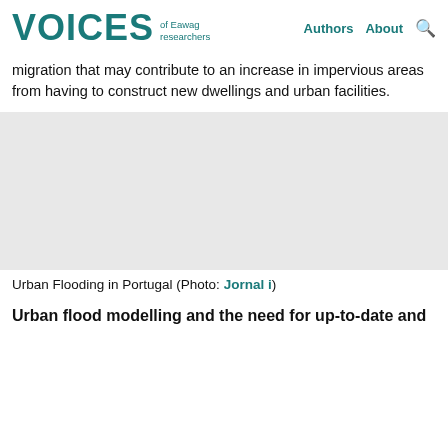VOICES of Eawag researchers | Authors | About
migration that may contribute to an increase in impervious areas from having to construct new dwellings and urban facilities.
[Figure (photo): Urban flooding scene in Portugal — flooded street or urban area.]
Urban Flooding in Portugal (Photo: Jornal i)
Urban flood modelling and the need for up-to-date and